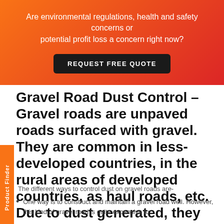Are environmental regulations, health and safety concerns or potential profit loss a concern right now?
REQUEST FREE QUOTE
Gravel Road Dust Control – Gravel roads are unpaved roads surfaced with gravel. They are common in less-developed countries, in the rural areas of developed countries, as haul roads, etc. Due to dust generated, they are known as 'dirt roads' in some countries.
The different ways to control dust on gravel roads are-
One way is to construct and maintain a gravel road well. However, this kind of gravel road is quite expensive to